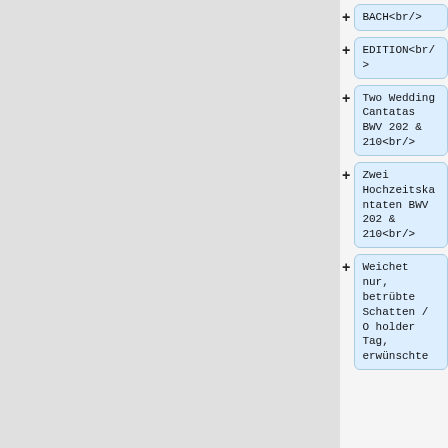BACH<br/>
EDITION<br/>
Two Wedding Cantatas BWV 202 & 210<br/>
Zwei Hochzeitskantaten BWV 202 & 210<br/>
Weichet nur, betrübte Schatten / O holder Tag, erwünschte...